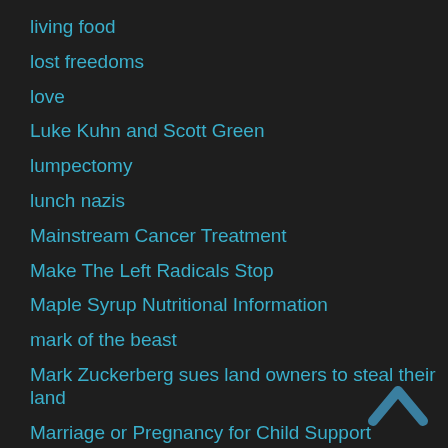living food
lost freedoms
love
Luke Kuhn and Scott Green
lumpectomy
lunch nazis
Mainstream Cancer Treatment
Make The Left Radicals Stop
Maple Syrup Nutritional Information
mark of the beast
Mark Zuckerberg sues land owners to steal their land
Marriage or Pregnancy for Child Support
martial law 2015
mass murder by corporations